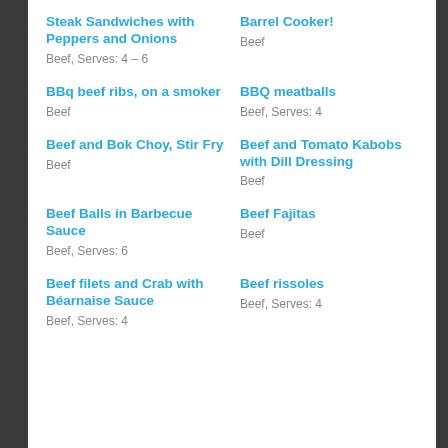Steak Sandwiches with Peppers and Onions
Beef, Serves: 4 – 6
Barrel Cooker!
Beef
BBq beef ribs, on a smoker
Beef
BBQ meatballs
Beef, Serves: 4
Beef and Bok Choy, Stir Fry
Beef
Beef and Tomato Kabobs with Dill Dressing
Beef
Beef Balls in Barbecue Sauce
Beef, Serves: 6
Beef Fajitas
Beef
Beef filets and Crab with Béarnaise Sauce
Beef, Serves: 4
Beef rissoles
Beef, Serves: 4